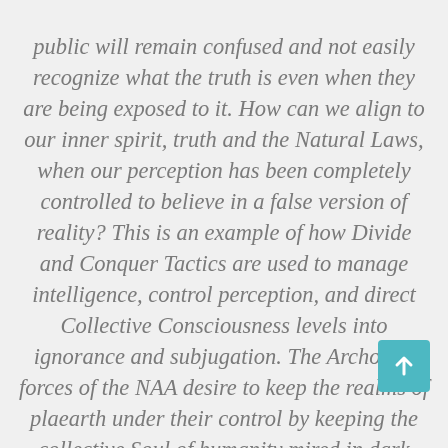public will remain confused and not easily recognize what the truth is even when they are being exposed to it. How can we align to our inner spirit, truth and the Natural Laws, when our perception has been completely controlled to believe in a false version of reality? This is an example of how Divide and Conquer Tactics are used to manage intelligence, control perception, and direct Collective Consciousness levels into ignorance and subjugation. The Archontic forces of the NAA desire to keep the realms of pla[net] earth under their control by keeping the collective Soul of humanity mired in dark ignorance and confusion about how the